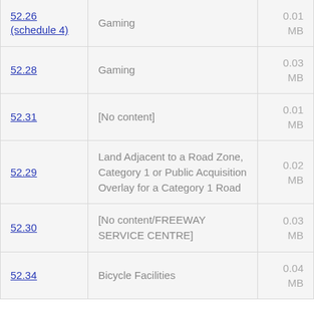| Schedule/Section | Description | Size |
| --- | --- | --- |
| 52.26 (schedule 4) | Gaming | 0.01 MB |
| 52.28 | Gaming | 0.03 MB |
| 52.31 | [No content] | 0.01 MB |
| 52.29 | Land Adjacent to a Road Zone, Category 1 or Public Acquisition Overlay for a Category 1 Road | 0.02 MB |
| 52.30 | [No content/FREEWAY SERVICE CENTRE] | 0.03 MB |
| 52.34 | Bicycle Facilities | 0.04 MB |